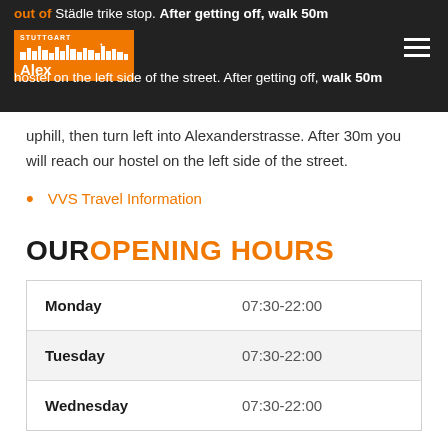Alex 30 Hostel
into Alexanderstraße. After 30m you will find our hostel on the left side of the street. After getting off, walk 50m uphill, then turn left into Alexanderstrasse. After 30m you will reach our hostel on the left side of the street.
VVS Travel Information
OUR OPENING HOURS
| Day | Hours |
| --- | --- |
| Monday | 07:30-22:00 |
| Tuesday | 07:30-22:00 |
| Wednesday | 07:30-22:00 |